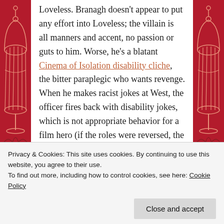Loveless. Branagh doesn't appear to put any effort into Loveless; the villain is all manners and accent, no passion or guts to him. Worse, he's a blatant Cinema of Isolation disability cliche, the bitter paraplegic who wants revenge. When he makes racist jokes at West, the officer fires back with disability jokes, which is not appropriate behavior for a film hero (if the roles were reversed, the writers would have known not to have their hero make racist jokes, no matter what the villain says).
As the film's damsel in distress, Salma
Privacy & Cookies: This site uses cookies. By continuing to use this website, you agree to their use.
To find out more, including how to control cookies, see here: Cookie Policy
Close and accept